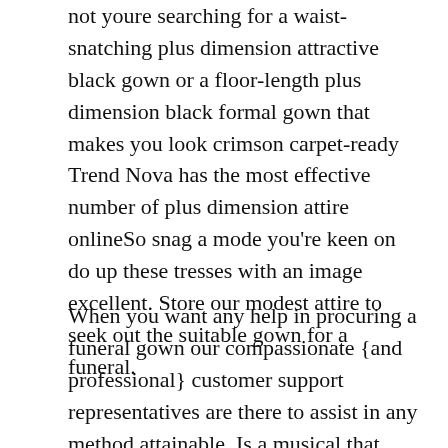not youre searching for a waist-snatching plus dimension attractive black gown or a floor-length plus dimension black formal gown that makes you look crimson carpet-ready Trend Nova has the most effective number of plus dimension attire onlineSo snag a mode you're keen on do up these tresses with an image excellent. Store our modest attire to seek out the suitable gown for a funeral.
When you want any help in procuring a funeral gown our compassionate {and professional} customer support representatives are there to assist in any method attainable. Is a musical that celebrates these firsts that require a bit of black gown. Out there in plus and petite sizes too.